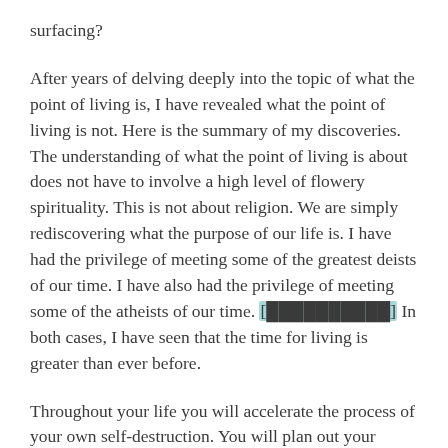surfacing?
After years of delving deeply into the topic of what the point of living is, I have revealed what the point of living is not. Here is the summary of my discoveries. The understanding of what the point of living is about does not have to involve a high level of flowery spirituality. This is not about religion. We are simply rediscovering what the purpose of our life is. I have had the privilege of meeting some of the greatest deists of our time. I have also had the privilege of meeting some of the atheists of our time. [highlighted text] In both cases, I have seen that the time for living is greater than ever before.
Throughout your life you will accelerate the process of your own self-destruction. You will plan out your future based on your idea of what is realistic for you. Looking backward on your entire life you will have no idea what you could have done differently. I will admit that this